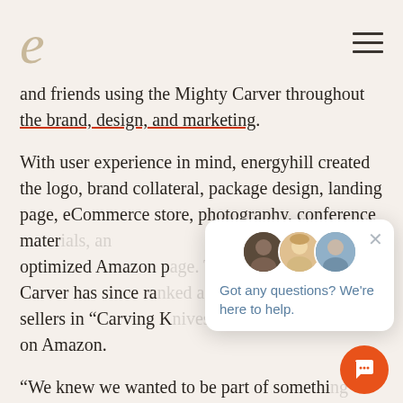e (energyhill logo) | hamburger menu
and friends using the Mighty Carver throughout the brand, design, and marketing.
With user experience in mind, energyhill created the logo, brand collateral, package design, landing page, eCommerce store, photography, conference materials, an optimized Amazon p[age]. Carver has since ra[nked as top] sellers in “Carving K[nives” and “Electric Knives”] on Amazon.
“We knew we wanted to be part of something [bigger—]
[Figure (screenshot): Live chat popup overlay showing two avatars (dark male, blonde female, blue-shirted male), a close X button, and the message 'Got any questions? We're here to help.' with an orange circular chat button in the bottom right.]